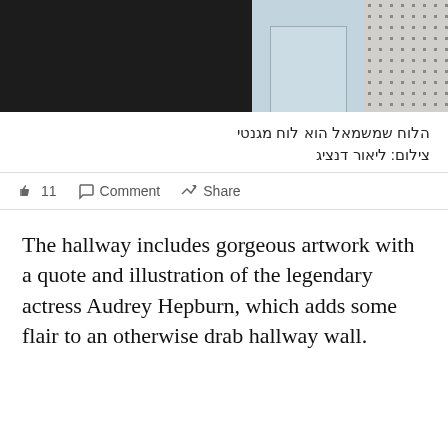[Figure (photo): Three photos side by side showing interior hallway elements: dark area on left, light blue cabinet/shelf in middle, dotted fabric or wallpaper on right]
הלוח שמשמאל הוא לוח מגנטי
צילום: ליאור דנציג
👍 11   Comment   Share
The hallway includes gorgeous artwork with a quote and illustration of the legendary actress Audrey Hepburn, which adds some flair to an otherwise drab hallway wall.